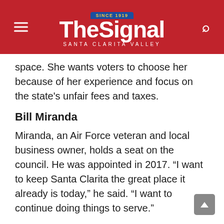The Signal — Santa Clarita Valley
space. She wants voters to choose her because of her experience and focus on the state's unfair fees and taxes.
Bill Miranda
Miranda, an Air Force veteran and local business owner, holds a seat on the council. He was appointed in 2017. “I want to keep Santa Clarita the great place it already is today,” he said. “I want to continue doing things to serve.”
Sandra Nichols